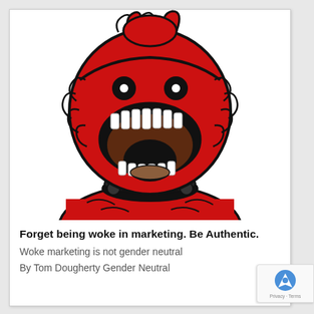[Figure (illustration): A cartoon illustration of a red monster creature with a large open mouth showing teeth, small black eyes, two small horns on top, a black spiked collar with a letter C on it, and a red humanoid body. The creature is drawn in a comic/cartoon style with bold black outlines on a white background.]
Forget being woke in marketing. Be Authentic.
Woke marketing is not gender neutral
By Tom Dougherty Gender Neutral